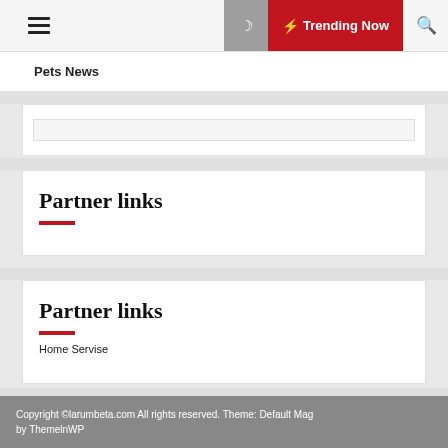Pets News | Trending Now
Pets News
Partner links
Partner links
Home Servise
Copyright ©larumbeta.com All rights reserved. Theme: Default Mag by ThemelnWP